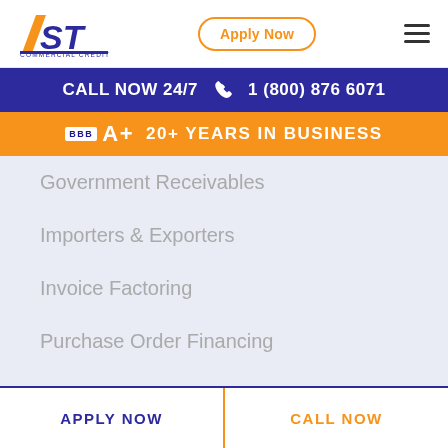[Figure (logo): 1st Commercial Credit logo — bold numeral 1 and ST in orange/navy, with COMMERCIAL CREDIT below in navy]
Apply Now
CALL NOW 24/7  1 (800) 876 6071
BBB A+  20+ YEARS IN BUSINESS
Government Receivables
Importers & Exporters
Invoice Factoring
Purchase Order Financing
Trade Payable Financing
APPLY NOW
CALL NOW